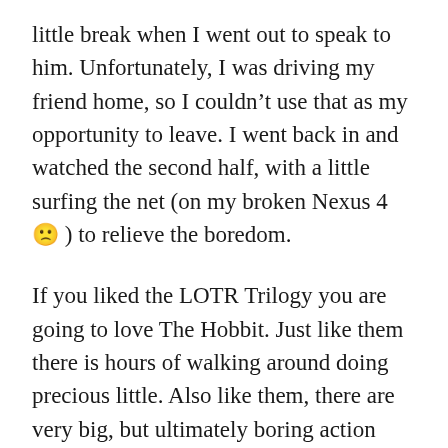little break when I went out to speak to him. Unfortunately, I was driving my friend home, so I couldn't use that as my opportunity to leave. I went back in and watched the second half, with a little surfing the net (on my broken Nexus 4 🙁 ) to relieve the boredom.
If you liked the LOTR Trilogy you are going to love The Hobbit. Just like them there is hours of walking around doing precious little. Also like them, there are very big, but ultimately boring action scenes. Peter Jackson just can't do fight scenes. He focuses on numbers of enemies, rather than interesting fighting dynamics. It's just dull seeing a couple of guys easily beat down thousands of orcs or goblins.